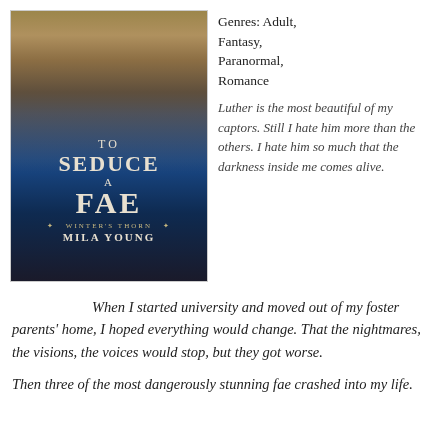[Figure (illustration): Book cover of 'To Seduce a Fae' by Mila Young, Winter's Thorn series. Shows a muscular shirtless male figure against an icy blue fantasy background with snow. Title text displayed prominently.]
Genres: Adult, Fantasy, Paranormal, Romance
Luther is the most beautiful of my captors. Still I hate him more than the others. I hate him so much that the darkness inside me comes alive.
When I started university and moved out of my foster parents’ home, I hoped everything would change. That the nightmares, the visions, the voices would stop, but they got worse.
Then three of the most dangerously stunning fae crashed into my life.